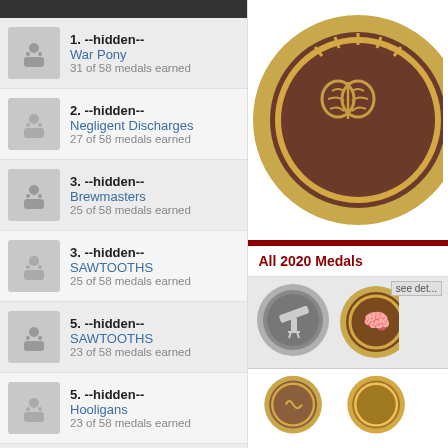1. --hidden--
War Pony
31 of 58 medals earned
2. --hidden--
Negligent Discharges
27 of 58 medals earned
3. --hidden--
Brewmasters
25 of 58 medals earned
3. --hidden--
SAWTOOTHS
25 of 58 medals earned
5. --hidden--
SAWTOOTHS
23 of 58 medals earned
5. --hidden--
Hooligans
23 of 58 medals earned
5. --hidden--
[Figure (illustration): Bronze medal with brain icon and gold border]
All 2020 Medals
[Figure (illustration): Silver medal with telescope icon]
[Figure (illustration): Bronze/gold medal partially visible]
[Figure (illustration): Bronze medal with swirl design, partially visible]
[Figure (illustration): Gold medal partially visible]